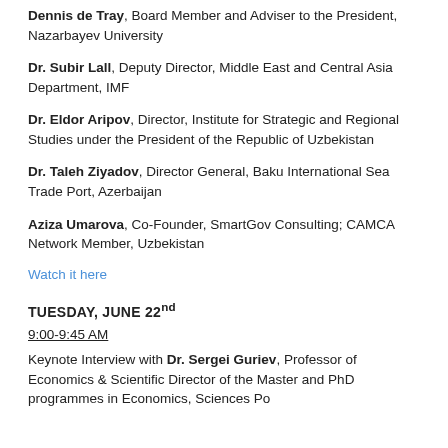Dennis de Tray, Board Member and Adviser to the President, Nazarbayev University
Dr. Subir Lall, Deputy Director, Middle East and Central Asia Department, IMF
Dr. Eldor Aripov, Director, Institute for Strategic and Regional Studies under the President of the Republic of Uzbekistan
Dr. Taleh Ziyadov, Director General, Baku International Sea Trade Port, Azerbaijan
Aziza Umarova, Co-Founder, SmartGov Consulting; CAMCA Network Member, Uzbekistan
Watch it here
TUESDAY, JUNE 22nd
9:00-9:45 AM
Keynote Interview with Dr. Sergei Guriev, Professor of Economics & Scientific Director of the Master and PhD programmes in Economics, Sciences Po